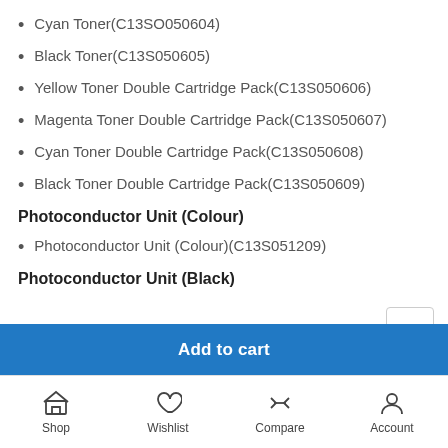Cyan Toner(C13SO050604)
Black Toner(C13S050605)
Yellow Toner Double Cartridge Pack(C13S050606)
Magenta Toner Double Cartridge Pack(C13S050607)
Cyan Toner Double Cartridge Pack(C13S050608)
Black Toner Double Cartridge Pack(C13S050609)
Photoconductor Unit (Colour)
Photoconductor Unit (Colour)(C13S051209)
Photoconductor Unit (Black)
Add to cart
Shop  Wishlist  Compare  Account